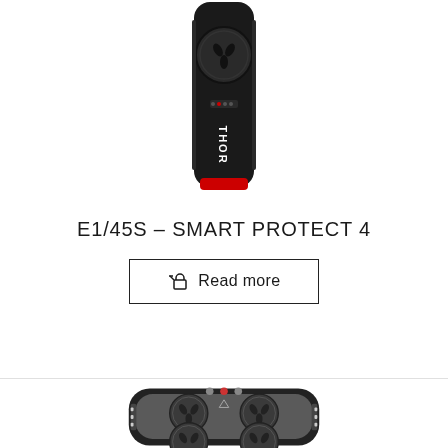[Figure (photo): Top-down view of a black THOR power strip/surge protector (E1/45S Smart Protect 4) showing a single Australian-style power outlet on a slim black body with indicator lights and THOR branding]
E1/45S – SMART PROTECT 4
Read more
[Figure (photo): Top-down view of a dark grey/black THOR multi-outlet power board showing 4 Australian-style power outlets arranged in a radial/rotary pattern with grey surrounds and red/white connector ports at the top]